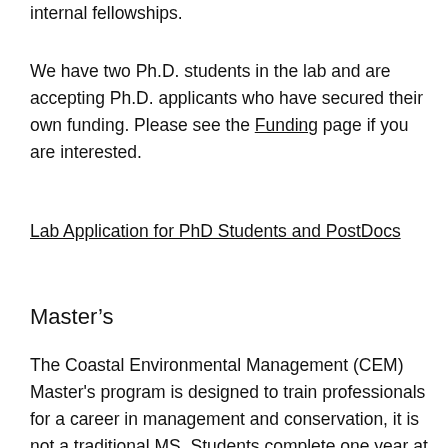internal fellowships.
We have two Ph.D. students in the lab and are accepting Ph.D. applicants who have secured their own funding. Please see the Funding page if you are interested.
Lab Application for PhD Students and PostDocs
Master’s
The Coastal Environmental Management (CEM) Master's program is designed to train professionals for a career in management and conservation, it is not a traditional MS. Students complete one year at Duke University's main campus in Durham, followed by a second year at the Duke Marine Lab in Beaufort, where we are based. We typically have opportunities for Coastal Environmental Management students in their first and second year to